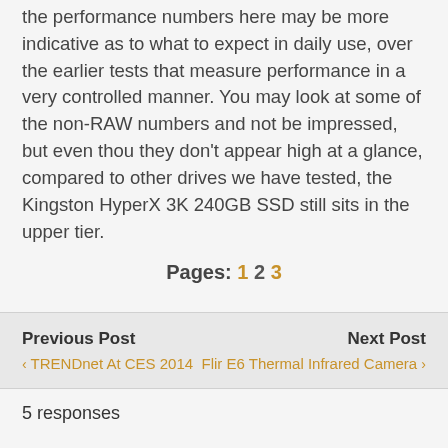the performance numbers here may be more indicative as to what to expect in daily use, over the earlier tests that measure performance in a very controlled manner. You may look at some of the non-RAW numbers and not be impressed, but even thou they don't appear high at a glance, compared to other drives we have tested, the Kingston HyperX 3K 240GB SSD still sits in the upper tier.
Pages: 1 2 3
Previous Post
< TRENDnet At CES 2014
Next Post
Flir E6 Thermal Infrared Camera >
5 responses